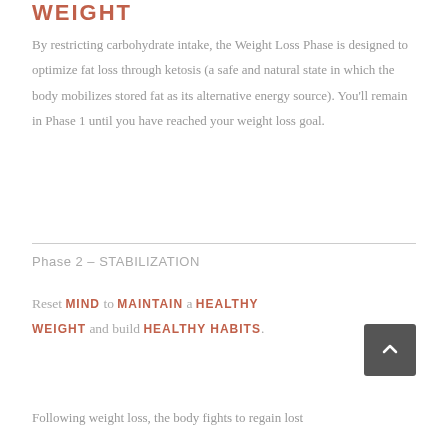WEIGHT
By restricting carbohydrate intake, the Weight Loss Phase is designed to optimize fat loss through ketosis (a safe and natural state in which the body mobilizes stored fat as its alternative energy source). You'll remain in Phase 1 until you have reached your weight loss goal.
Phase 2 – STABILIZATION
Reset MIND to MAINTAIN a HEALTHY WEIGHT and build HEALTHY HABITS.
Following weight loss, the body fights to regain lost